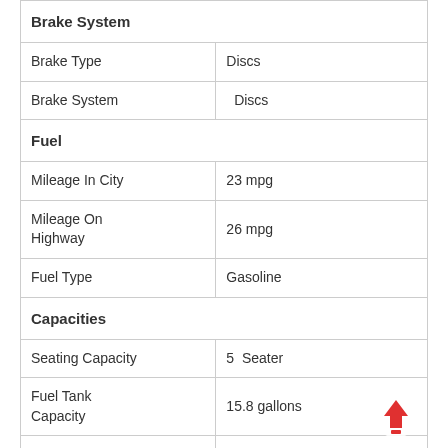| Brake System |  |
| Brake Type | Discs |
| Brake System |   Discs |
| Fuel |  |
| Mileage In City | 23 mpg |
| Mileage On Highway | 26 mpg |
| Fuel Type | Gasoline |
| Capacities |  |
| Seating Capacity | 5  Seater |
| Fuel Tank Capacity | 15.8 gallons |
| No. Of Doors | 4  Doors |
| Features |  |
| Air Conditioner | Yes |